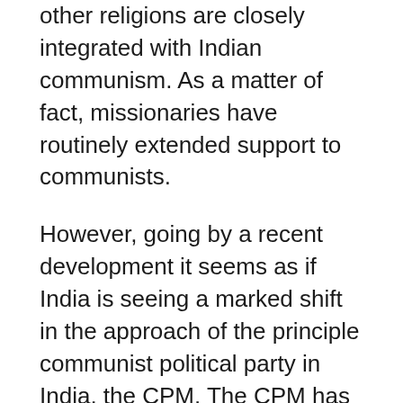other religions are closely integrated with Indian communism. As a matter of fact, missionaries have routinely extended support to communists.
However, going by a recent development it seems as if India is seeing a marked shift in the approach of the principle communist political party in India, the CPM. The CPM has decided to take out a rally on the eve of Ram Navmi, the day of Lord Ram's birth. The Ram Navmi rally is to be taken out in Rampurhat in the state of West Bengal. The fact that CPM's Ram Navmi rally is being taken out in Bengal shows how the CPM has given up in a state...